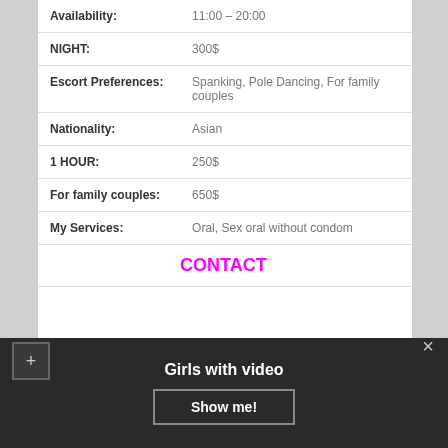| Field | Value |
| --- | --- |
| Availability: | 11:00 – 20:00 |
| NIGHT: | 300$ |
| Escort Preferences: | Spanking, Pole Dancing, For family couples |
| Nationality: | Asian |
| 1 HOUR: | 250$ |
| For family couples: | 650$ |
| My Services: | Oral, Sex oral without condom |
CONTACT
I provide a very sensual girlfriend
Girls with video
Show me!